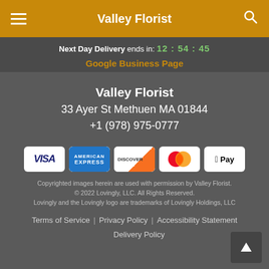Valley Florist
Next Day Delivery ends in: 12 : 54 : 45
Google Business Page
Valley Florist
33 Ayer St Methuen MA 01844
+1 (978) 975-0777
[Figure (other): Payment method icons: Visa, American Express, Discover, Mastercard, Apple Pay]
Copyrighted images herein are used with permission by Valley Florist. © 2022 Lovingly, LLC. All Rights Reserved. Lovingly and the Lovingly logo are trademarks of Lovingly Holdings, LLC
Terms of Service | Privacy Policy | Accessibility Statement | Delivery Policy